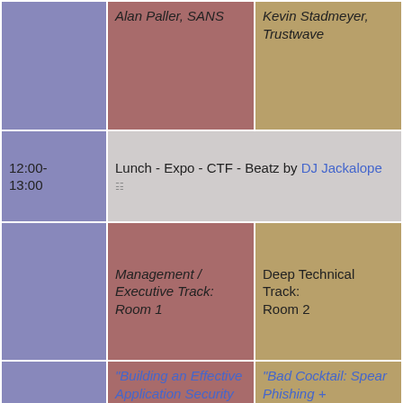| Time | Management / Executive Track: Room 1 | Deep Technical Track: Room 2 |
| --- | --- | --- |
|  | Alan Paller, SANS | Kevin Stadmeyer, Trustwave |
| 12:00-13:00 | Lunch - Expo - CTF - Beatz by DJ Jackalope |  |
|  | Management / Executive Track: Room 1 | Deep Technical Track: Room 2 |
| 13:00-13:50 | "Building an Effective Application Security Program"
Joey Peloquin, Fishnet Security | "Bad Cocktail: Spear Phishing + Application Hacks"
Rohyt Belani, Intrepidus Group |
| 13:50-14:50 | "Vulnerability Management in an Application Security World"
John Dickson & Dan ... | "SQL injection exploitation internals: How do I exploit this web application injection point?"
Bernardo Damele, |